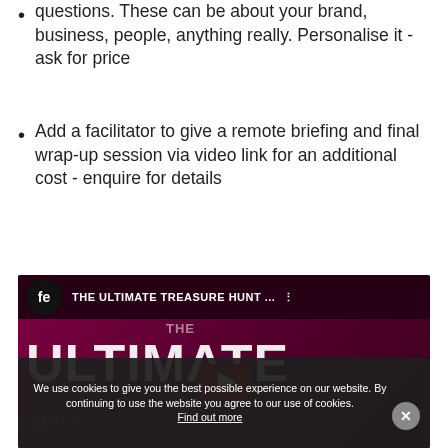questions. These can be about your brand, business, people, anything really. Personalise it - ask for price
Add a facilitator to give a remote briefing and final wrap-up session via video link for an additional cost - enquire for details
[Figure (screenshot): YouTube video embed showing 'THE ULTIMATE TREASURE HUNT ...' with fe logo, dark maroon background, large white ULTIMATE text, YouTube play button in center, and a cookie consent overlay at bottom reading 'We use cookies to give you the best possible experience on our website. By continuing to use the website you agree to our use of cookies. Find out more' with a close X button.]